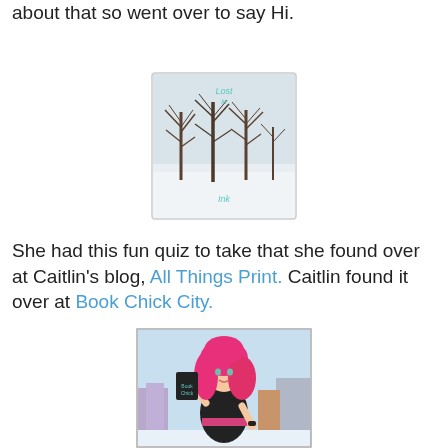about that so went over to say Hi.
[Figure (illustration): Lost in Ink blog logo: bare winter trees in snow with teal text 'Lost in Ink']
She had this fun quiz to take that she found over at Caitlin's blog, All Things Print. Caitlin found it over at Book Chick City.
[Figure (illustration): Book Chick City cartoon logo: stylized woman with pink hair holding a book, wearing black dress, city background]